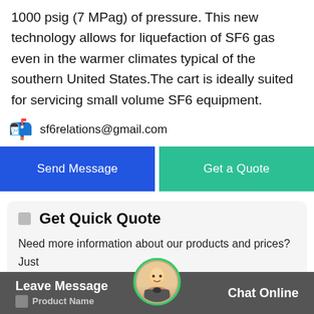1000 psig (7 MPag) of pressure. This new technology allows for liquefaction of SF6 gas even in the warmer climates typical of the southern United States.The cart is ideally suited for servicing small volume SF6 equipment.
sf6relations@gmail.com
Send Message
Get a Quote
Get Quick Quote
Need more information about our products and prices?Just contact us, we are waiting for you!
Leave Message   Chat Online